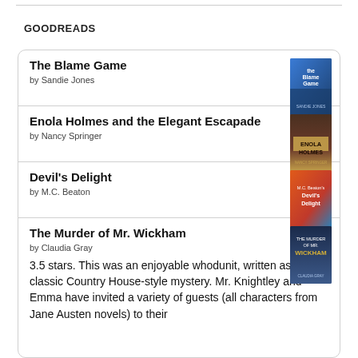GOODREADS
The Blame Game by Sandie Jones
Enola Holmes and the Elegant Escapade by Nancy Springer
Devil's Delight by M.C. Beaton
The Murder of Mr. Wickham by Claudia Gray
3.5 stars. This was an enjoyable whodunit, written as a classic Country House-style mystery. Mr. Knightley and Emma have invited a variety of guests (all characters from Jane Austen novels) to their